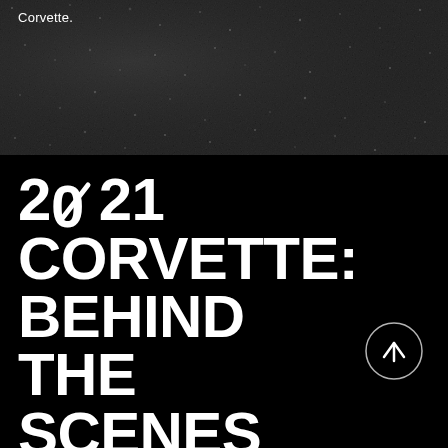[Figure (photo): Dark textured asphalt/gravel background at the top of the page]
Corvette.
2021 CORVETTE: BEHIND THE SCENES
[Figure (other): Circle button with upward arrow icon in white outline on black background]